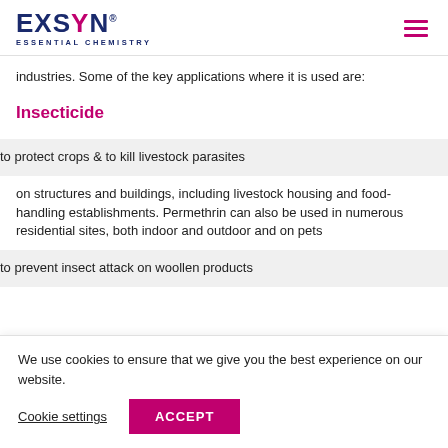EXSYN ESSENTIAL CHEMISTRY
industries. Some of the key applications where it is used are:
Insecticide
to protect crops & to kill livestock parasites
on structures and buildings, including livestock housing and food-handling establishments. Permethrin can also be used in numerous residential sites, both indoor and outdoor and on pets
to prevent insect attack on woollen products
We use cookies to ensure that we give you the best experience on our website.
Cookie settings  ACCEPT